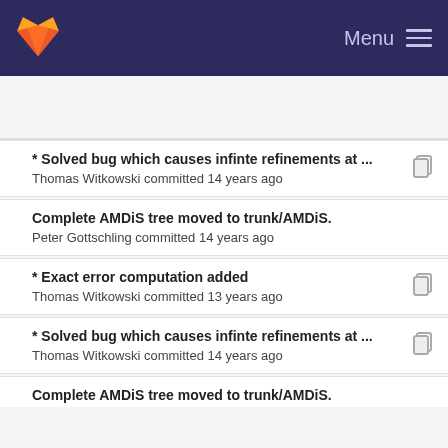Menu
* Solved bug which causes infinte refinements at ...
Thomas Witkowski committed 14 years ago
Complete AMDiS tree moved to trunk/AMDiS.
Peter Gottschling committed 14 years ago
* Exact error computation added
Thomas Witkowski committed 13 years ago
* Solved bug which causes infinte refinements at ...
Thomas Witkowski committed 14 years ago
Complete AMDiS tree moved to trunk/AMDiS.